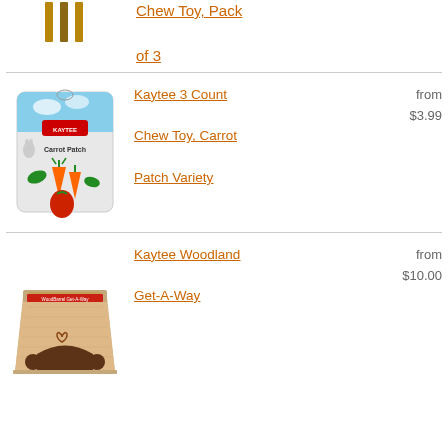Chew Toy, Pack of 3
[Figure (photo): Kaytee Carrot Patch Chew Toy package showing carrots and strawberries]
Kaytee 3 Count Chew Toy, Carrot Patch Variety from $3.99
[Figure (photo): Kaytee Woodland Get-A-Way wooden hideaway house for small animals]
Kaytee Woodland Get-A-Way from $10.00